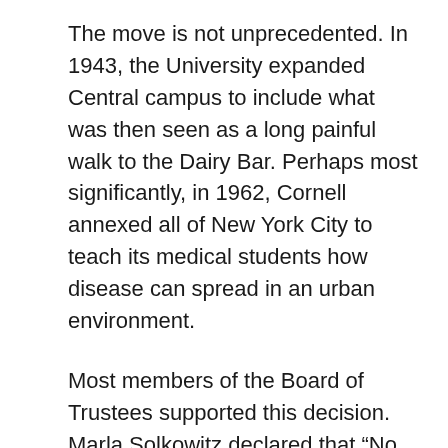The move is not unprecedented. In 1943, the University expanded Central campus to include what was then seen as a long painful walk to the Dairy Bar. Perhaps most significantly, in 1962, Cornell annexed all of New York City to teach its medical students how disease can spread in an urban environment.
Most members of the Board of Trustees supported this decision. Marla Solkowitz declared that “No longer will students have to dread walking twenty minutes to class every morning in the rain, sleet, snow and freezing cold.” She also commented that the new lines would make weekends safer because “Central Campus is a much shorter drunk walk back from Collegetown than North Campus.”
Although the decision has been made, the kinks of the transition are still being worked out. Administrators will